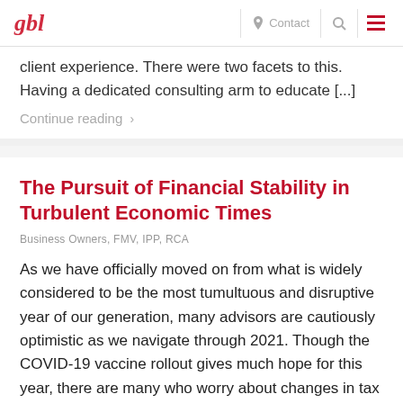gbl | Contact [icon] [search icon] [menu icon]
client experience. There were two facets to this. Having a dedicated consulting arm to educate [...]
Continue reading >
The Pursuit of Financial Stability in Turbulent Economic Times
Business Owners, FMV, IPP, RCA
As we have officially moved on from what is widely considered to be the most tumultuous and disruptive year of our generation, many advisors are cautiously optimistic as we navigate through 2021. Though the COVID-19 vaccine rollout gives much hope for this year, there are many who worry about changes in tax policy in order [...]